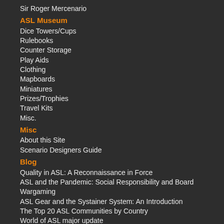Sir Roger Mercenario
ASL Museum
Dice Towers/Cups
Rulebooks
Counter Storage
Play Aids
Clothing
Mapboards
Miniatures
Prizes/Trophies
Travel Kits
Misc.
Misc
About this Site
Scenario Designers Guide
Blog
Quality in ASL: A Reconnaissance in Force
ASL and the Pandemic: Social Responsibility and Board Wargaming
ASL Gear and the Systainer System: An Introduction
The Top 20 ASL Communities by Country
World of ASL major update
Contact
I welcome all/ comments & feedback.